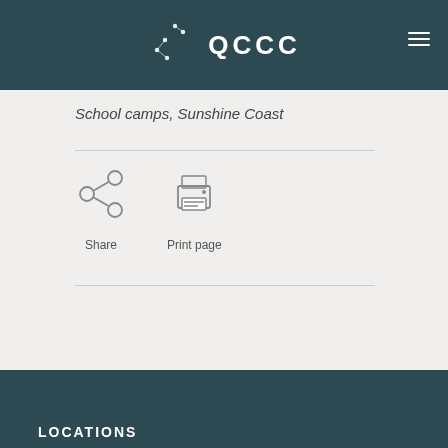[Figure (logo): QCCC logo with dots pattern on dark teal background header]
School camps, Sunshine Coast
[Figure (infographic): Share icon (network nodes) and Print page icon (printer), each with label below]
LOCATIONS